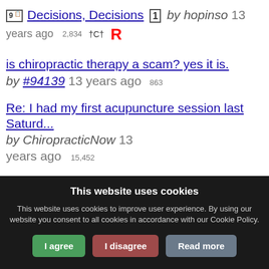Decisions, Decisions by hopinso 13 years ago 2,834 †C† R
is chiropractic therapy a scam? yes it is. by #94139 13 years ago 863
Re: I had my first acupuncture session last Saturd... by ChiropracticNow 13 years ago 15,452
Re: anybody found migraine relief with chiropracti... by twistoffate 13 years ago
This website uses cookies
This website uses cookies to improve user experience. By using our website you consent to all cookies in accordance with our Cookie Policy.